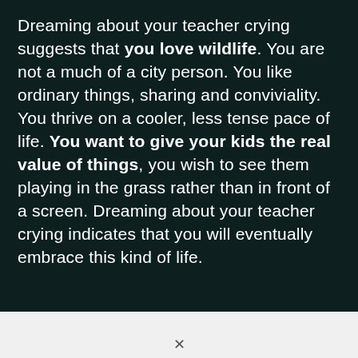Dreaming about your teacher crying suggests that you love wildlife. You are not a much of a city person. You like ordinary things, sharing and conviviality. You thrive on a cooler, less tense pace of life. You want to give your kids the real value of things, you wish to see them playing in the grass rather than in front of a screen. Dreaming about your teacher crying indicates that you will eventually embrace this kind of life.